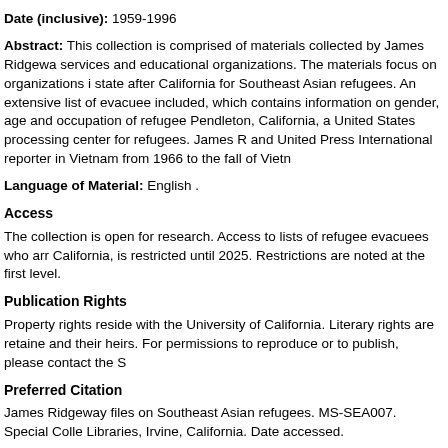Date (inclusive): 1959-1996
Abstract: This collection is comprised of materials collected by James Ridgeway services and educational organizations. The materials focus on organizations in state after California for Southeast Asian refugees. An extensive list of evacuee included, which contains information on gender, age and occupation of refugees Pendleton, California, a United States processing center for refugees. James R and United Press International reporter in Vietnam from 1966 to the fall of Vietn
Language of Material: English .
Access
The collection is open for research. Access to lists of refugee evacuees who arr California, is restricted until 2025. Restrictions are noted at the first level.
Publication Rights
Property rights reside with the University of California. Literary rights are retaine and their heirs. For permissions to reproduce or to publish, please contact the S
Preferred Citation
James Ridgeway files on Southeast Asian refugees. MS-SEA007. Special Colle Libraries, Irvine, California. Date accessed.
For the benefit of current and future researchers, please cite any additional info this collection, including permanent URLs, item or folder descriptions, and box/f
Acquisition Information